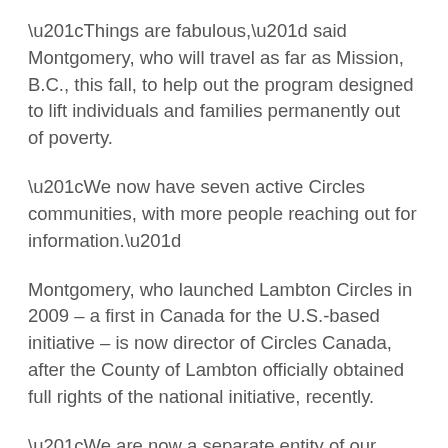“Things are fabulous,” said Montgomery, who will travel as far as Mission, B.C., this fall, to help out the program designed to lift individuals and families permanently out of poverty.
“We now have seven active Circles communities, with more people reaching out for information.”
Montgomery, who launched Lambton Circles in 2009 – a first in Canada for the U.S.-based initiative – is now director of Circles Canada, after the County of Lambton officially obtained full rights of the national initiative, recently.
“We are now a separate entity of our own, so that has led to more excitement across the province,” she said, pointing to a new promotional video, released this